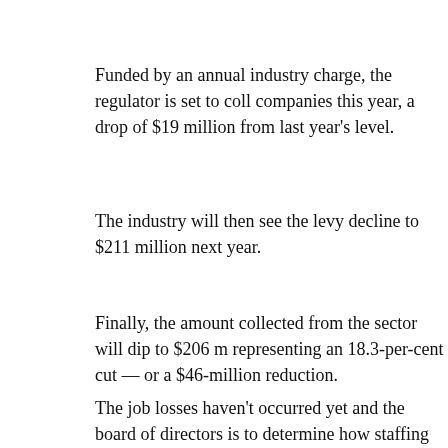Funded by an annual industry charge, the regulator is set to collect from companies this year, a drop of $19 million from last year's level.
The industry will then see the levy decline to $211 million next year.
Finally, the amount collected from the sector will dip to $206 m representing an 18.3-per-cent cut — or a $46-million reduction.
The job losses haven't occurred yet and the board of directors is to determine how staffing reductions will be achieved, AER spokesperson said.
The opposition NDP warned last week that expected cuts of 18 email to staff last month — would backfire.
“We are currently seeing the lowest level of drilling activity on year,” NDP MLA Irfan Sabir said at the time. “Slowing down the cuts will only make a bad situation worse.”